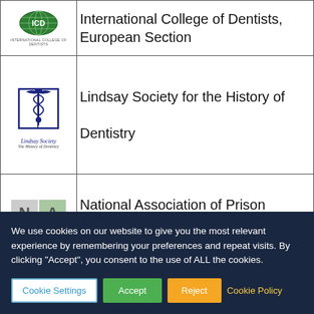| Logo | Organization Name |
| --- | --- |
| [ICD logo] | International College of Dentists, European Section |
| [Lindsay Society logo] | Lindsay Society for the History of Dentistry |
| [NAPD logo] | National Association of Prison Dentistry UK |
| [logo] | National Examining Board for Dental... |
We use cookies on our website to give you the most relevant experience by remembering your preferences and repeat visits. By clicking “Accept”, you consent to the use of ALL the cookies.